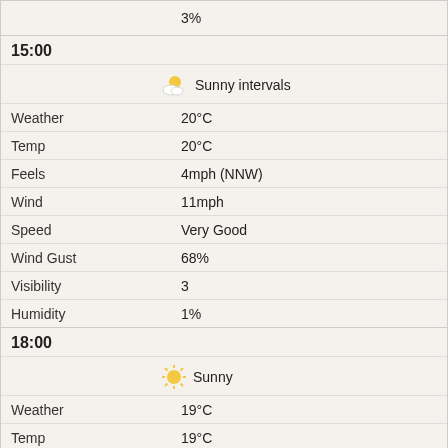3%
15:00
| Label | Value |
| --- | --- |
| Weather | Sunny intervals |
| Temp | 20°C |
| Feels | 20°C |
| Wind | 4mph (NNW) |
| Speed | 11mph |
| Wind Gust | Very Good |
| Visibility | 68% |
| Humidity | 3 |
|  | 1% |
18:00
| Label | Value |
| --- | --- |
| Weather | Sunny |
| Temp | 19°C |
| Feels | 19°C |
| Wind | 4mph (NNW) |
| Speed | 9mph |
| Wind Gust | Very Good |
| Visibility | 73% |
| Humidity | 1 |
|  | 1% |
21:00
| Label | Value |
| --- | --- |
| Weather | Clear sky |
| Temp | 18°C |